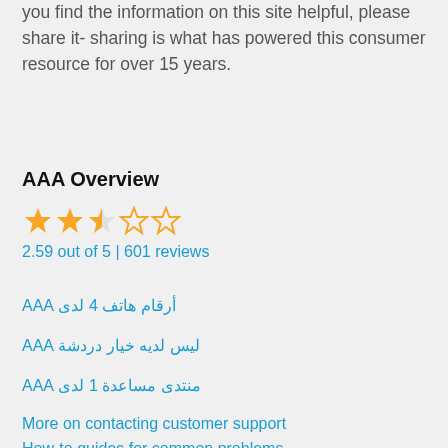you find the information on this site helpful, please share it- sharing is what has powered this consumer resource for over 15 years.
AAA Overview
[Figure (other): Star rating: 2.59 out of 5 stars — two full gold stars, one half gold star, two empty stars]
2.59 out of 5 | 601 reviews
أرقام هاتف 4 لدى AAA
ليس لديه خيار دردشة AAA
منتدى مساعدة 1 لدى AAA
More on contacting customer support
How-to guides for common problems